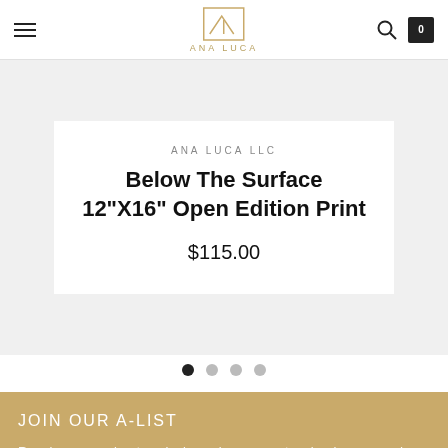ANA LUCA
ANA LUCA LLC
Below The Surface 12"X16" Open Edition Print
$115.00
JOIN OUR A-LIST
Receive news about exclusive sales, new artwork releases, and more.
Enter your e-mail
SUBSCRIBE